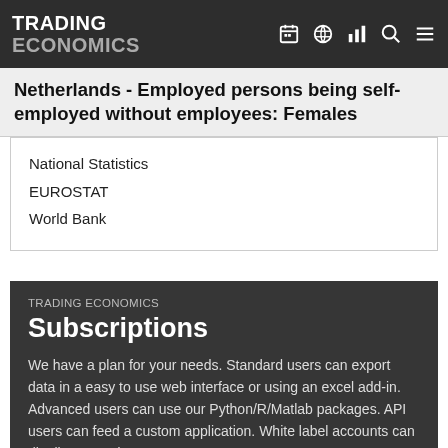TRADING ECONOMICS
Netherlands - Employed persons being self-employed without employees: Females
National Statistics
EUROSTAT
World Bank
TRADING ECONOMICS
Subscriptions
We have a plan for your needs. Standard users can export data in a easy to use web interface or using an excel add-in. Advanced users can use our Python/R/Matlab packages. API users can feed a custom application. White label accounts can distribute our data.